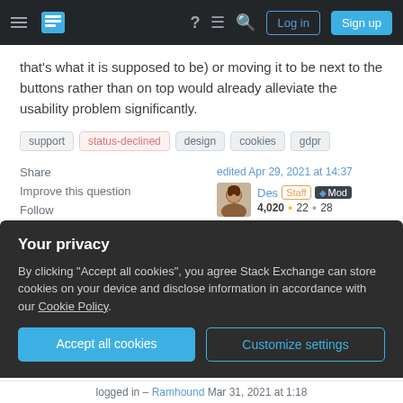Stack Exchange navigation bar with Log in and Sign up buttons
that's what it is supposed to be) or moving it to be next to the buttons rather than on top would already alleviate the usability problem significantly.
support
status-declined
design
cookies
gdpr
Share
Improve this question
Follow
edited Apr 29, 2021 at 14:37
Des Staff ♦ Mod
4,020 ● 22 ● 28
asked Mar 30, 2021 at 15:49
Your privacy
By clicking "Accept all cookies", you agree Stack Exchange can store cookies on your device and disclose information in accordance with our Cookie Policy.
Accept all cookies
Customize settings
logged in – Ramhound Mar 31, 2021 at 1:18